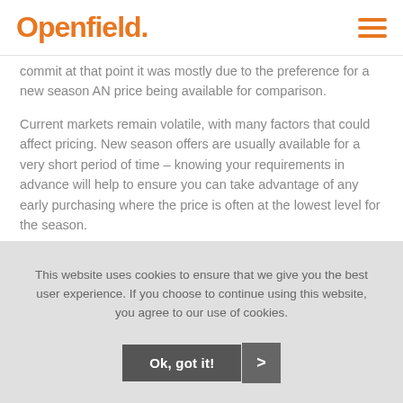Openfield.
commit at that point it was mostly due to the preference for a new season AN price being available for comparison.
Current markets remain volatile, with many factors that could affect pricing. New season offers are usually available for a very short period of time – knowing your requirements in advance will help to ensure you can take advantage of any early purchasing where the price is often at the lowest level for the season.
This website uses cookies to ensure that we give you the best user experience. If you choose to continue using this website, you agree to our use of cookies.